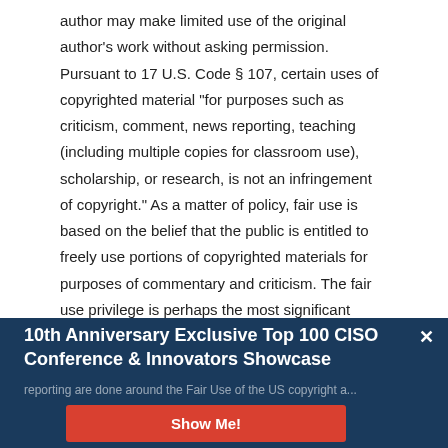author may make limited use of the original author's work without asking permission. Pursuant to 17 U.S. Code § 107, certain uses of copyrighted material "for purposes such as criticism, comment, news reporting, teaching (including multiple copies for classroom use), scholarship, or research, is not an infringement of copyright." As a matter of policy, fair use is based on the belief that the public is entitled to freely use portions of copyrighted materials for purposes of commentary and criticism. The fair use privilege is perhaps the most significant limitation on a copyright owner's exclusive rights. Cyber Defense Media Group is a news reporting company, reporting cyber news, security information and much more at no charge to our readers. All of the blogs, reports, and reporting are done around the Fair Use of the US copyright a...
10th Anniversary Exclusive Top 100 CISO Conference & Innovators Showcase
Show Me!